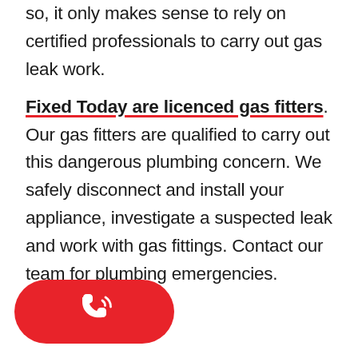so, it only makes sense to rely on certified professionals to carry out gas leak work.
Fixed Today are licenced gas fitters. Our gas fitters are qualified to carry out this dangerous plumbing concern. We safely disconnect and install your appliance, investigate a suspected leak and work with gas fittings. Contact our team for plumbing emergencies.
[Figure (illustration): Red rounded rectangular button with a white phone/call icon (handset with signal waves) on it]